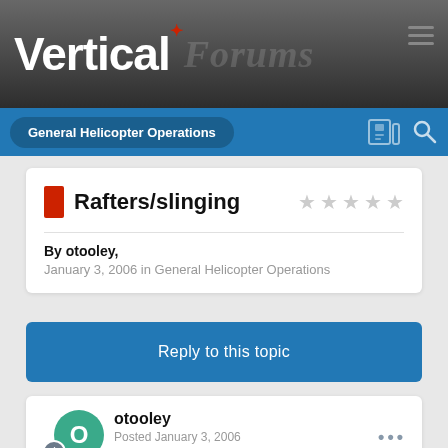Vertical Forums
General Helicopter Operations
Rafters/slinging
By otooley,
January 3, 2006 in General Helicopter Operations
Reply to this topic
otooley
Posted January 3, 2006
I'm interested to hear some of your techniques to having a load of wooden rafters from a house..fly so they don't spin and to minimize the point that let them and it to accompany